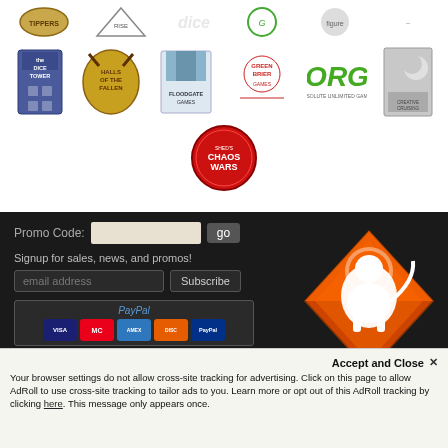[Figure (logo): Row of partner/sponsor logos including The Dice Tower, Floodgate Games, Greenbrier Games, ORG, and others]
[Figure (logo): Chaos Wars logo centered below the two logo rows]
Promo Code:
Signup for sales, news, and promos!
email address
Subscribe
[Figure (logo): PayPal payment options showing Visa, MasterCard, American Express, Discover, PayPal]
All material © 2022 Dog Might LLC.
[Figure (logo): Dog Might logo - white rampant lion on orange/red diamond shape with DOG MIGHT text]
Accept and Close ✕
Your browser settings do not allow cross-site tracking for advertising. Click on this page to allow AdRoll to use cross-site tracking to tailor ads to you. Learn more or opt out of this AdRoll tracking by clicking here. This message only appears once.